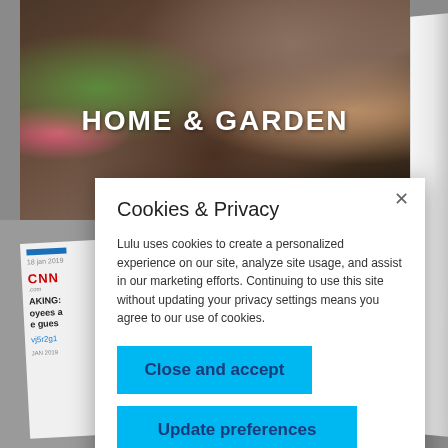[Figure (photo): Background image of person gardening with soil, plants, trowel, and a magazine showing HOME & GARDEN text overlay with page curl on right side and CNN paper snippet in lower left]
HOME & GARDEN
Cookies & Privacy
Lulu uses cookies to create a personalized experience on our site, analyze site usage, and assist in our marketing efforts. Continuing to use this site without updating your privacy settings means you agree to our use of cookies.
Close and accept
Update preferences
Privacy Policy